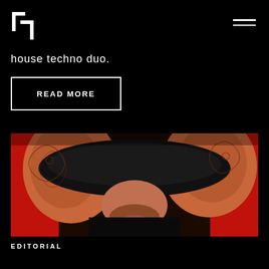[Figure (logo): White geometric logo mark on black background, top left]
[Figure (other): Hamburger menu icon (two white horizontal lines) top right]
house techno duo.
READ MORE
[Figure (photo): Close-up photo of a person holding a black leather cap over their face with both hands decorated with henna/mehndi patterns, against a red background, slight smile visible]
EDITORIAL